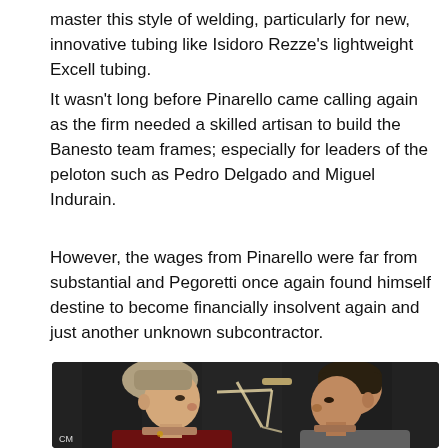master this style of welding, particularly for new, innovative tubing like Isidoro Rezze's lightweight Excell tubing.
It wasn't long before Pinarello came calling again as the firm needed a skilled artisan to build the Banesto team frames; especially for leaders of the peloton such as Pedro Delgado and Miguel Indurain.
However, the wages from Pinarello were far from substantial and Pegoretti once again found himself destine to become financially insolvent again and just another unknown subcontractor.
[Figure (photo): Two men facing each other in conversation against a dark background, with a light-colored bicycle frame visible between them. A watermark 'CM' appears in the lower left corner.]